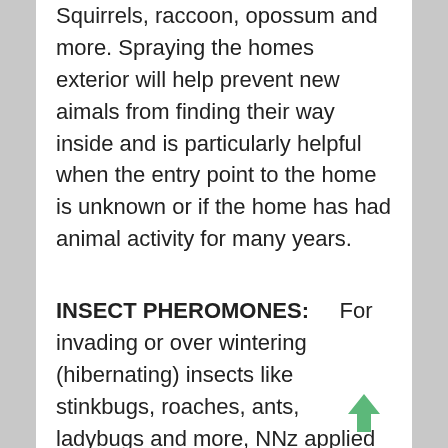Squirrels, raccoon, opossum and more. Spraying the homes exterior will help prevent new aimals from finding their way inside and is particularly helpful when the entry point to the home is unknown or if the home has had animal activity for many years.
INSECT PHEROMONES:    For invading or over wintering (hibernating) insects like stinkbugs, roaches, ants, ladybugs and more, NNz applied to the homes exterior will remove the pheromones these insects leave to “call” other insects. Remove the odor and you’ll have less if any new invading